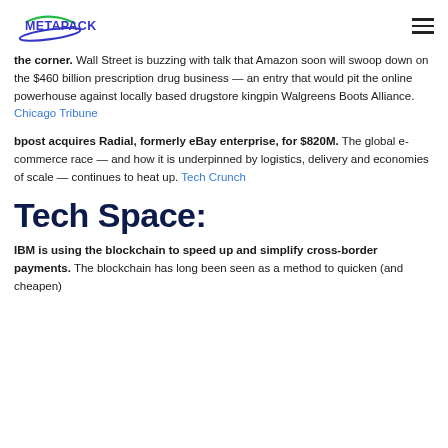METAPACK
An Amazon-Walgreens showdown is just around the corner. Wall Street is buzzing with talk that Amazon soon will swoop down on the $460 billion prescription drug business — an entry that would pit the online powerhouse against locally based drugstore kingpin Walgreens Boots Alliance. Chicago Tribune
bpost acquires Radial, formerly eBay enterprise, for $820M. The global e-commerce race — and how it is underpinned by logistics, delivery and economies of scale — continues to heat up. Tech Crunch
Tech Space:
IBM is using the blockchain to speed up and simplify cross-border payments. The blockchain has long been seen as a method to quicken (and cheapen)